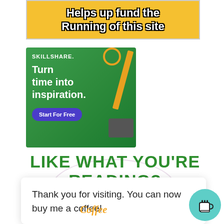[Figure (infographic): Yellow banner ad with bold white outlined text reading 'Helps up fund the Running of this site']
[Figure (infographic): Skillshare advertisement on green background with text 'Turn time into inspiration.' and 'Start For Free' button, with ruler, circle and camera decorations]
LIKE WHAT YOU'RE READING?
Thank you for visiting. You can now buy me a coffee!
[Figure (logo): Coffee cup icon button in teal circle]